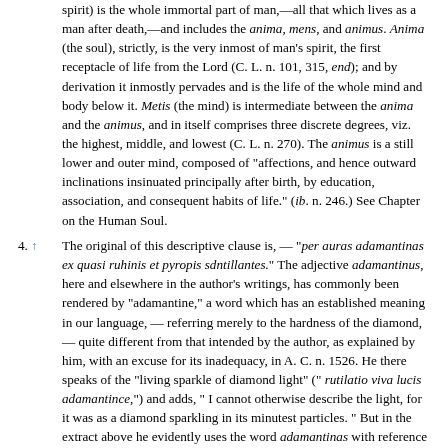spirit) is the whole immortal part of man,—all that which lives as a man after death,—and includes the anima, mens, and animus. Anima (the soul), strictly, is the very inmost of man's spirit, the first receptacle of life from the Lord (C. L. n. 101, 315, end); and by derivation it inmostly pervades and is the life of the whole mind and body below it. Metis (the mind) is intermediate between the anima and the animus, and in itself comprises three discrete degrees, viz. the highest, middle, and lowest (C. L. n. 270). The animus is a still lower and outer mind, composed of "affections, and hence outward inclinations insinuated principally after birth, by education, association, and consequent habits of life." (ib. n. 246.) See Chapter on the Human Soul.
4. ↑ The original of this descriptive clause is, — "per auras adamantinas ex quasi ruhinis et pyropis sdntillantes." The adjective adamantinus, here and elsewhere in the author's writings, has commonly been rendered by "adamantine," a word which has an established meaning in our language, — referring merely to the hardness of the diamond, — quite different from that intended by the author, as explained by him, with an excuse for its inadequacy, in A. C. n. 1526. He there speaks of the "living sparkle of diamond light" (" rutilatio viva lucis adamantince,") and adds, " I cannot otherwise describe the light, for it was as a diamond sparkling in its minutest particles. " But in the extract above he evidently uses the word adamantinas with reference exclusively to the sparkling brilliancy of the diamond, apart from its colour. To translate it with " diamond," or " diamond like," would